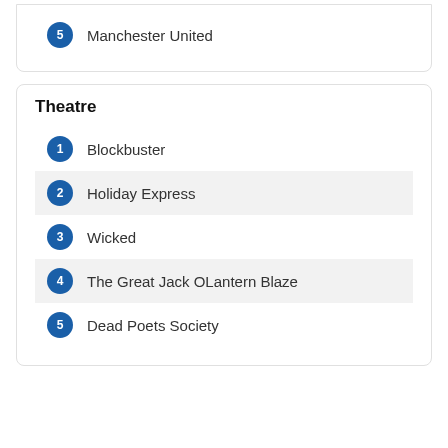5 Manchester United
Theatre
1 Blockbuster
2 Holiday Express
3 Wicked
4 The Great Jack OLantern Blaze
5 Dead Poets Society